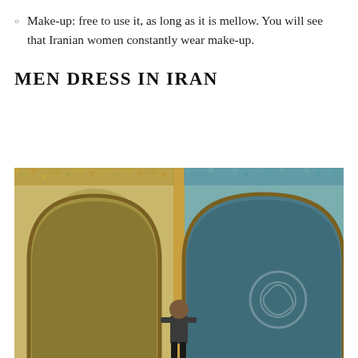Make-up: free to use it, as long as it is mellow. You will see that Iranian women constantly wear make-up.
MEN DRESS IN IRAN
[Figure (photo): A man standing in front of ornate mosaic-tiled arched walls of an Iranian building, decorated with colorful floral and geometric tile patterns in yellow, blue, and green.]